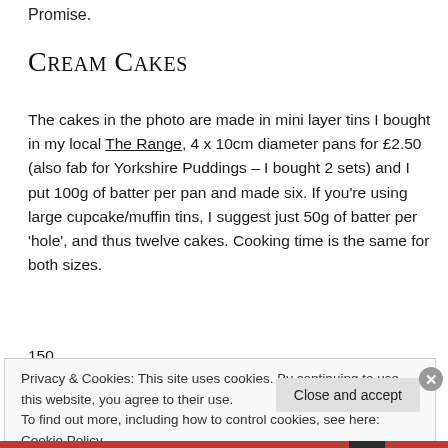Promise.
Cream Cakes
The cakes in the photo are made in mini layer tins I bought in my local The Range, 4 x 10cm diameter pans for £2.50 (also fab for Yorkshire Puddings – I bought 2 sets) and I put 100g of batter per pan and made six. If you're using large cupcake/muffin tins, I suggest just 50g of batter per 'hole', and thus twelve cakes. Cooking time is the same for both sizes.
150
Privacy & Cookies: This site uses cookies. By continuing to use this website, you agree to their use.
To find out more, including how to control cookies, see here: Cookie Policy
Close and accept